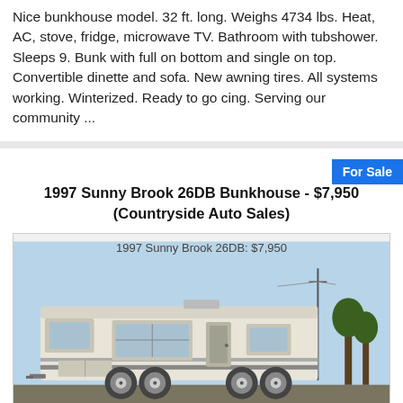Nice bunkhouse model. 32 ft. long. Weighs 4734 lbs. Heat, AC, stove, fridge, microwave TV. Bathroom with tubshower. Sleeps 9. Bunk with full on bottom and single on top. Convertible dinette and sofa. New awning tires. All systems working. Winterized. Ready to go cing. Serving our community ...
1997 Sunny Brook 26DB Bunkhouse - $7,950 (Countryside Auto Sales)
[Figure (photo): Photograph of a 1997 Sunny Brook 26DB travel trailer/bunkhouse RV parked on gravel, labeled '1997 Sunny Brook 26DB: $7,950']